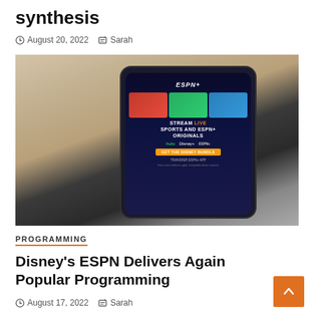synthesis
August 20, 2022  Sarah
[Figure (photo): Hand holding a smartphone displaying the ESPN+ streaming service app with text 'Stream Live Sports and ESPN+ Originals' and Disney Bundle promotional content]
PROGRAMMING
Disney's ESPN Delivers Again Popular Programming
August 17, 2022  Sarah